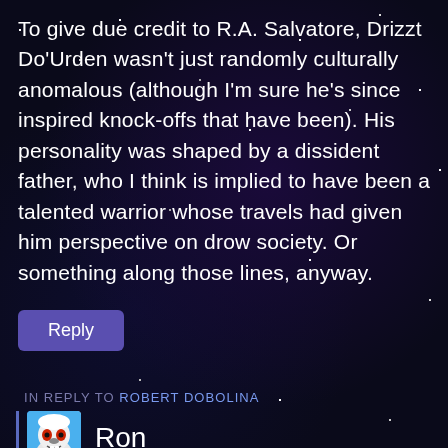To give due credit to R.A. Salvatore, Drizzt Do'Urden wasn't just randomly culturally anomalous (although I'm sure he's since inspired knock-offs that have been). His personality was shaped by a dissident father, who I think is implied to have been a talented warrior whose travels had given him perspective on drow society. Or something along those lines, anyway.
Reply
IN REPLY TO ROBERT DOBOLINA
Ron